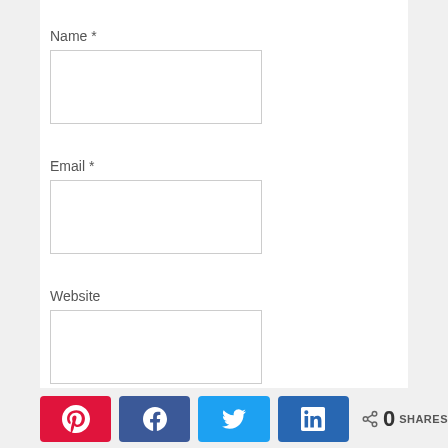Name *
[Figure (other): Empty text input field for Name]
Email *
[Figure (other): Empty text input field for Email]
Website
[Figure (other): Empty text input field for Website]
Notify me of follow-up comments by email.
Notify me of new posts by email.
[Figure (infographic): Social share buttons: Pinterest (red), Facebook (dark blue), Twitter (light blue), LinkedIn (blue), and share count showing 0 SHARES]